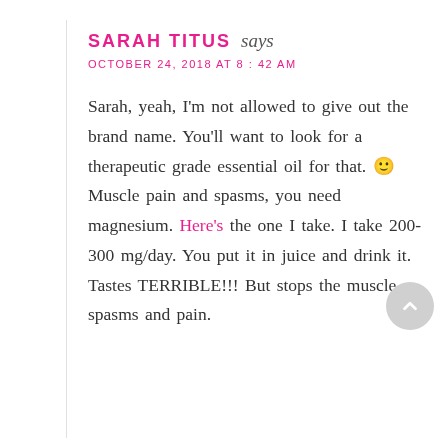SARAH TITUS says
OCTOBER 24, 2018 AT 8:42 AM
Sarah, yeah, I'm not allowed to give out the brand name. You'll want to look for a therapeutic grade essential oil for that. 🙂 Muscle pain and spasms, you need magnesium. Here's the one I take. I take 200-300 mg/day. You put it in juice and drink it. Tastes TERRIBLE!!! But stops the muscle spasms and pain.